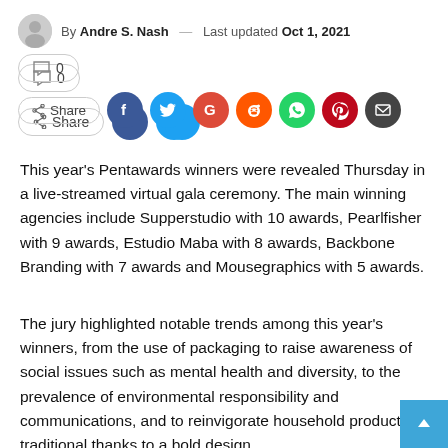By Andre S. Nash — Last updated Oct 1, 2021
[Figure (other): Comment count button showing 0 comments, and a share row with Share button and social media icons: Facebook, Twitter, Google, Reddit, WhatsApp, Pinterest, Email]
This year’s Pentawards winners were revealed Thursday in a live-streamed virtual gala ceremony. The main winning agencies include Supperstudio with 10 awards, Pearlfisher with 9 awards, Estudio Maba with 8 awards, Backbone Branding with 7 awards and Mousegraphics with 5 awards.
The jury highlighted notable trends among this year’s winners, from the use of packaging to raise awareness of social issues such as mental health and diversity, to the prevalence of environmental responsibility and communications, and to reinvigorate household products. traditional thanks to a bold design.